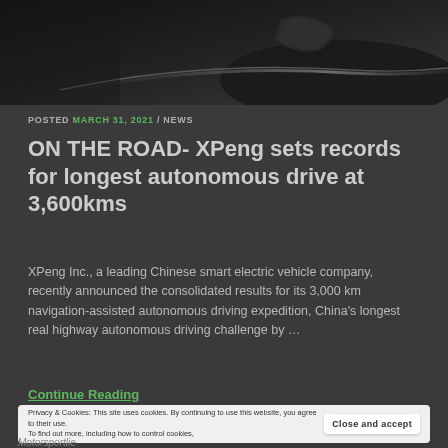[Figure (photo): Dark automotive photo showing a car mirror and body panel in low-key lighting]
POSTED MARCH 31, 2021 / NEWS
ON THE ROAD- XPeng sets records for longest autonomous drive at 3,600kms
XPeng Inc., a leading Chinese smart electric vehicle company, recently announced the consolidated results for its 3,000 km navigation-assisted autonomous driving expedition, China's longest real highway autonomous driving challenge by …
Continue Reading
Privacy & Cookies: This site uses cookies. By continuing to use this website, you agree to their use. To find out more, including how to control cookies,
Motorsportlie